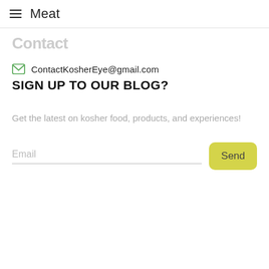Meat
Contact
ContactKosherEye@gmail.com
SIGN UP TO OUR BLOG?
Get the latest on kosher food, products, and experiences!
Email
Send